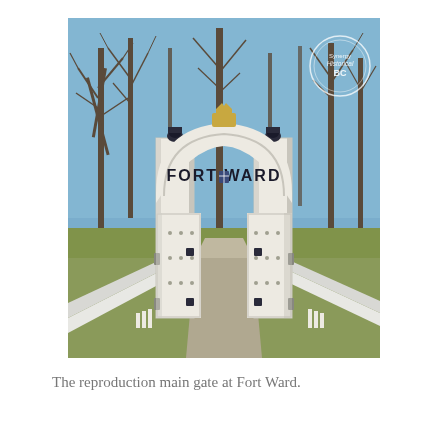[Figure (photo): Photograph of the reproduction main gate at Fort Ward. The white painted wooden gate features an arched entrance with 'FORT WARD' lettered across the arch, two square columns with decorative finials, and open double gates. A concrete walkway leads through the gate into a park with bare winter trees and a grassy lawn. A circular watermark/logo appears in the upper right corner of the photo.]
The reproduction main gate at Fort Ward.